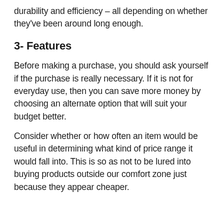durability and efficiency – all depending on whether they've been around long enough.
3- Features
Before making a purchase, you should ask yourself if the purchase is really necessary. If it is not for everyday use, then you can save more money by choosing an alternate option that will suit your budget better.
Consider whether or how often an item would be useful in determining what kind of price range it would fall into. This is so as not to be lured into buying products outside our comfort zone just because they appear cheaper.